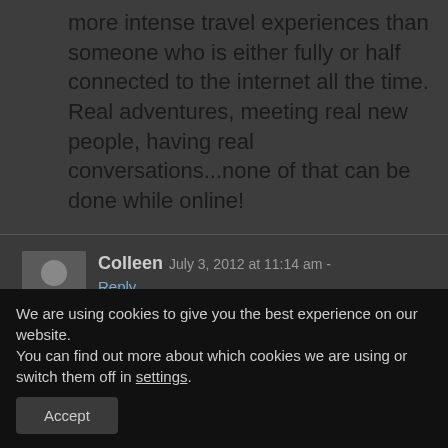more intense travel experiences than someone who is either fully or half connected to the internet all the time. Real adventures, meeting real new people, having real conversations...none of that can be done while online!
Colleen July 3, 2012 at 11:14 am - Reply
Having said the above, if it
We are using cookies to give you the best experience on our website.
You can find out more about which cookies we are using or switch them off in settings.
Accept